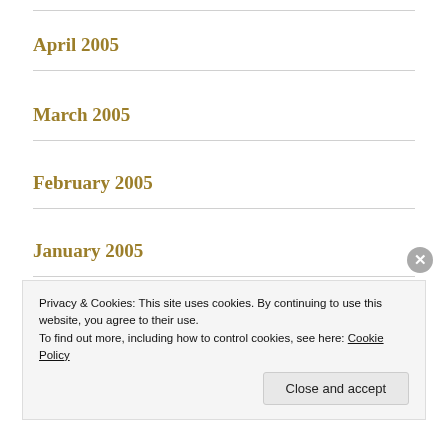April 2005
March 2005
February 2005
January 2005
December 2004
November 2004
Privacy & Cookies: This site uses cookies. By continuing to use this website, you agree to their use.
To find out more, including how to control cookies, see here: Cookie Policy
Close and accept